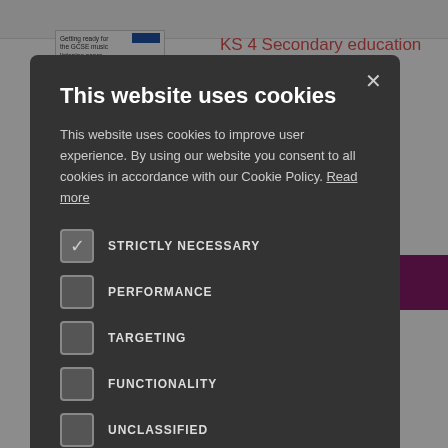[Figure (screenshot): Background webpage showing KS 4 Secondary education content with thumbnail images and text about students sitting an exam in Year 8 summer, with a purple button element visible]
This website uses cookies
This website uses cookies to improve user experience. By using our website you consent to all cookies in accordance with our Cookie Policy. Read more
STRICTLY NECESSARY (checked)
PERFORMANCE
TARGETING
FUNCTIONALITY
UNCLASSIFIED
ACCEPT ALL
DECLINE ALL
SHOW DETAILS